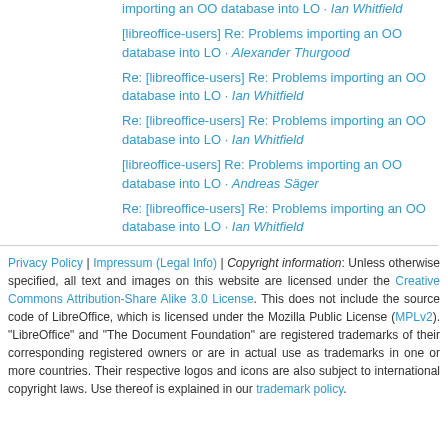importing an OO database into LO · Ian Whitfield
[libreoffice-users] Re: Problems importing an OO database into LO · Alexander Thurgood
Re: [libreoffice-users] Re: Problems importing an OO database into LO · Ian Whitfield
Re: [libreoffice-users] Re: Problems importing an OO database into LO · Ian Whitfield
[libreoffice-users] Re: Problems importing an OO database into LO · Andreas Säger
Re: [libreoffice-users] Re: Problems importing an OO database into LO · Ian Whitfield
Privacy Policy | Impressum (Legal Info) | Copyright information: Unless otherwise specified, all text and images on this website are licensed under the Creative Commons Attribution-Share Alike 3.0 License. This does not include the source code of LibreOffice, which is licensed under the Mozilla Public License (MPLv2). "LibreOffice" and "The Document Foundation" are registered trademarks of their corresponding registered owners or are in actual use as trademarks in one or more countries. Their respective logos and icons are also subject to international copyright laws. Use thereof is explained in our trademark policy.